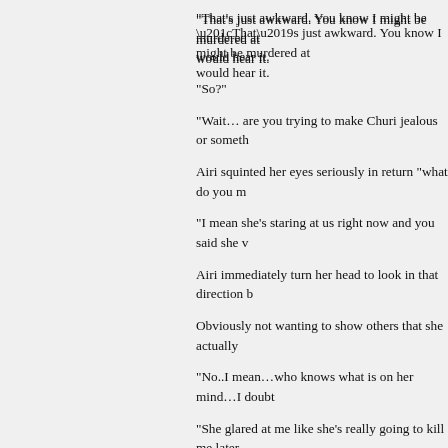“That’s just awkward. You know I might be murdered at would hear it.
“So?”
“Wait… are you trying to make Churi jealous or someth
Airi squinted her eyes seriously in return “what do you m
“I mean she’s staring at us right now and you said she v
Airi immediately turn her head to look in that direction b
Obviously not wanting to show others that she actually
“No..I mean…who knows what is on her mind…I doubt
“She glared at me like she’s really going to kill me later
After few more seconds of their awkward dancing Airi fi second… why is that so wrong?”
Someone cough and startled both Airi and Rena. Girls bit surprised but at the same time amused. “Actually…
No one before has fled the scene as soon as Rena did unable to express her true feelings.
Airi and Akane were left alone now standing in front of